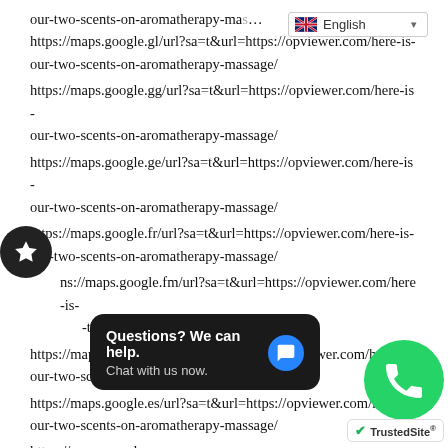[Figure (screenshot): Language selector dropdown showing English with UK flag]
our-two-scents-on-aromatherapy-massage/ https://maps.google.gl/url?sa=t&url=https://opviewer.com/here-is-our-two-scents-on-aromatherapy-massage/
https://maps.google.gg/url?sa=t&url=https://opviewer.com/here-is-our-two-scents-on-aromatherapy-massage/
https://maps.google.ge/url?sa=t&url=https://opviewer.com/here-is-our-two-scents-on-aromatherapy-massage/
https://maps.google.fr/url?sa=t&url=https://opviewer.com/here-is-our-two-scents-on-aromatherapy-massage/
https://maps.google.fm/url?sa=t&url=https://opviewer.com/here-is-our-two-scents-on-aromatherapy-massage/
https://maps.google.fi/url?sa=t&url=https://opviewer.com/here-is-our-two-scents-on-aromatherapy-massage/
https://maps.google.es/url?sa=t&url=https://opviewer.com/here-is-our-two-scents-on-aromatherapy-massage/
https://maps.google... (partially obscured) ...ewer.com/here-is-our-two-scents-on-aromatherapy-massage/
https://maps.google.dz/url?sa=t&url=https://opviewer.co...
[Figure (infographic): Dark chat bubble overlay: 'Questions? We can help. Chat with us now.' with blue chat icon]
[Figure (infographic): Green WhatsApp button circle with phone icon]
[Figure (logo): TrustedSite badge with green checkmark]